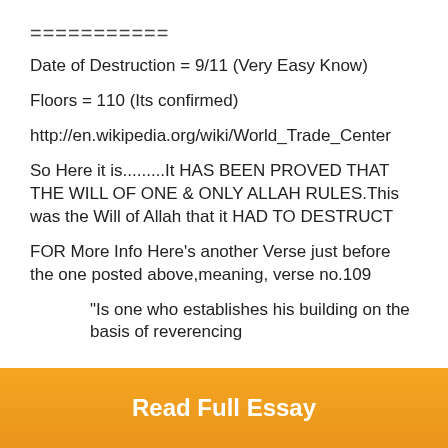===========
Date of Destruction = 9/11 (Very Easy Know)
Floors = 110 (Its confirmed)
http://en.wikipedia.org/wiki/World_Trade_Center
So Here it is.........It HAS BEEN PROVED THAT THE WILL OF ONE & ONLY ALLAH RULES.This was the Will of Allah that it HAD TO DESTRUCT
FOR More Info Here's another Verse just before the one posted above,meaning, verse no.109
"Is one who establishes his building on the basis of reverencing
Read Full Essay